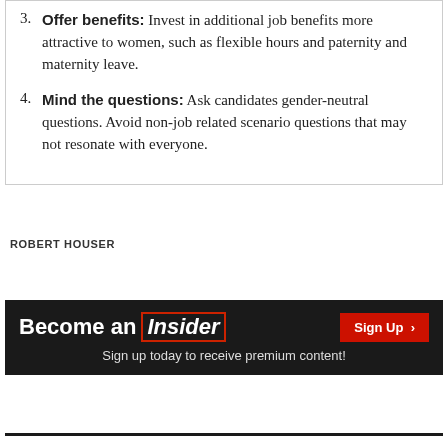3. Offer benefits: Invest in additional job benefits more attractive to women, such as flexible hours and paternity and maternity leave.
4. Mind the questions: Ask candidates gender-neutral questions. Avoid non-job related scenario questions that may not resonate with everyone.
ROBERT HOUSER
[Figure (other): Banner advertisement: 'Become an Insider — Sign Up — Sign up today to receive premium content!']